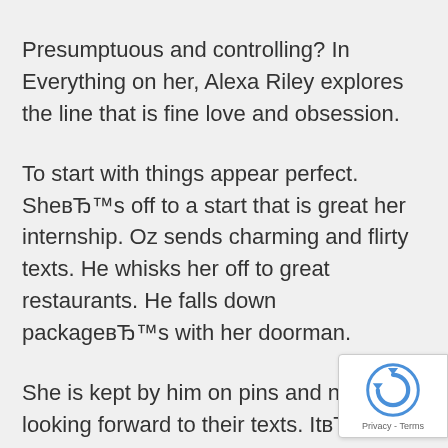Presumptuous and controlling? In Everything on her, Alexa Riley explores the line that is fine love and obsession.
To start with things appear perfect. SheвЂ™s off to a start that is great her internship. Oz sends charming and flirty texts. He whisks her off to great restaurants. He falls down packageвЂ™s with her doorman.
She is kept by him on pins and needles looking forward to their texts. ItвЂ™s fun and scary at the same time he occurs therefore strong. She thinks heвЂ™s just looking to get set although he
[Figure (other): Google reCAPTCHA badge with logo and Privacy - Terms text]